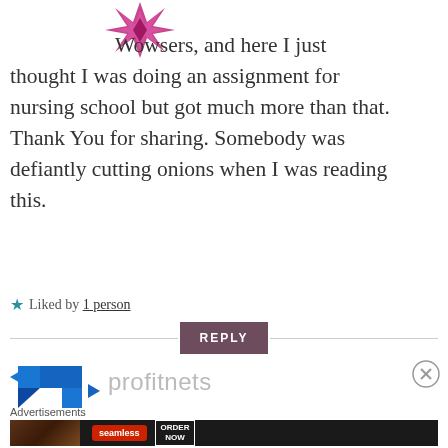[Figure (logo): Pink/magenta star-shaped avatar logo in top left area]
Wowsers, and here I just thought I was doing an assignment for nursing school but got much more than that. Thank You for sharing. Somebody was defiantly cutting onions when I was reading this.
★ Liked by 1 person
REPLY
[Figure (logo): Blue geometric/arrow logo for profitnets]
profitnets
Advertisements
[Figure (screenshot): Seamless food delivery advertisement with pizza image, Seamless red logo, and ORDER NOW button]